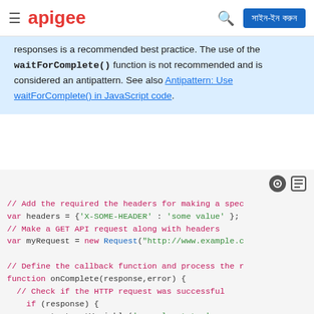apigee — সাইন-ইন করুন
responses is a recommended best practice. The use of the waitForComplete() function is not recommended and is considered an antipattern. See also Antipattern: Use waitForComplete() in JavaScript code.
// Add the required the headers for making a spec
var headers = {'X-SOME-HEADER' : 'some value' };
// Make a GET API request along with headers
var myRequest = new Request("http://www.example.c

// Define the callback function and process the r
function onComplete(response,error) {
  // Check if the HTTP request was successful
    if (response) {
      context.setVariable('example.status', respo
    } else {
      context.setVariable('example.error', 'Woops